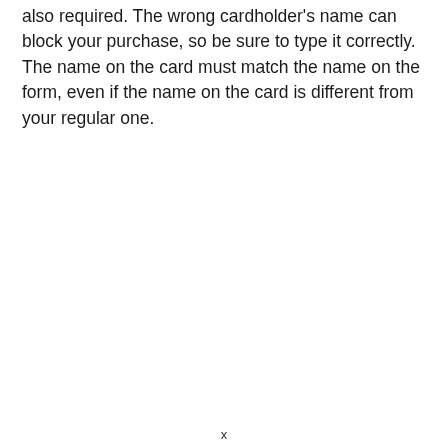also required. The wrong cardholder's name can block your purchase, so be sure to type it correctly. The name on the card must match the name on the form, even if the name on the card is different from your regular one.
x